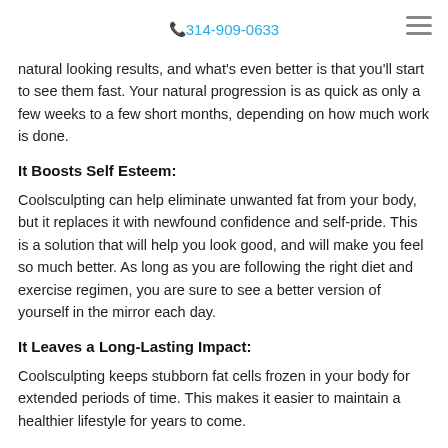📞 314-909-0633
natural looking results, and what's even better is that you'll start to see them fast. Your natural progression is as quick as only a few weeks to a few short months, depending on how much work is done.
It Boosts Self Esteem:
Coolsculpting can help eliminate unwanted fat from your body, but it replaces it with newfound confidence and self-pride. This is a solution that will help you look good, and will make you feel so much better. As long as you are following the right diet and exercise regimen, you are sure to see a better version of yourself in the mirror each day.
It Leaves a Long-Lasting Impact:
Coolsculpting keeps stubborn fat cells frozen in your body for extended periods of time. This makes it easier to maintain a healthier lifestyle for years to come.